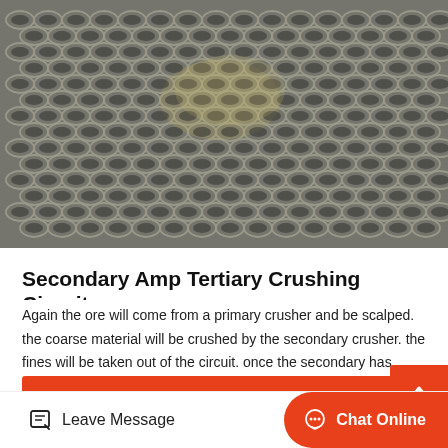[Figure (photo): Close-up photo of a metal mesh/screen used in crushing circuits, showing interlocking wire links with a grayish metallic appearance]
Secondary Amp Tertiary Crushing Circuits
Again the ore will come from a primary crusher and be scalped. the coarse material will be crushed by the secondary crusher. the fines will be taken out of the circuit. once the secondary has finished…
Chat Online
[Figure (photo): Outdoor landscape photo showing rocky terrain with trees and vegetation, partial view cut by UI elements]
Leave Message  Chat Online